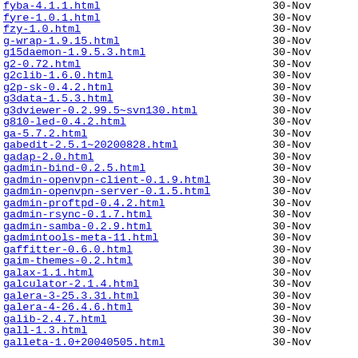fyba-4.1.1.html  30-Nov
fyre-1.0.1.html  30-Nov
fzy-1.0.html  30-Nov
g-wrap-1.9.15.html  30-Nov
g15daemon-1.9.5.3.html  30-Nov
g2-0.72.html  30-Nov
g2clib-1.6.0.html  30-Nov
g2p-sk-0.4.2.html  30-Nov
g3data-1.5.3.html  30-Nov
g3dviewer-0.2.99.5~svn130.html  30-Nov
g810-led-0.4.2.html  30-Nov
ga-5.7.2.html  30-Nov
gabedit-2.5.1~20200828.html  30-Nov
gadap-2.0.html  30-Nov
gadmin-bind-0.2.5.html  30-Nov
gadmin-openvpn-client-0.1.9.html  30-Nov
gadmin-openvpn-server-0.1.5.html  30-Nov
gadmin-proftpd-0.4.2.html  30-Nov
gadmin-rsync-0.1.7.html  30-Nov
gadmin-samba-0.2.9.html  30-Nov
gadmintools-meta-11.html  30-Nov
gaffitter-0.6.0.html  30-Nov
gaim-themes-0.2.html  30-Nov
galax-1.1.html  30-Nov
galculator-2.1.4.html  30-Nov
galera-3-25.3.31.html  30-Nov
galera-4-26.4.6.html  30-Nov
galib-2.4.7.html  30-Nov
gall-1.3.html  30-Nov
galleta-1.0+20040505.html  30-Nov